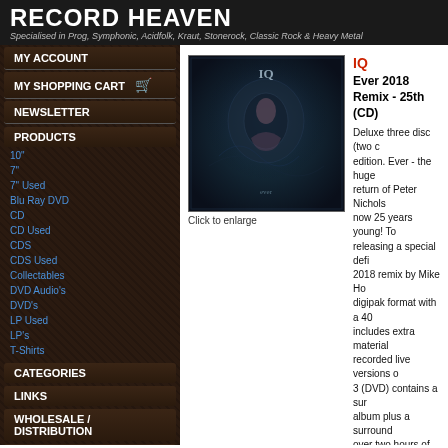RECORD HEAVEN
Specialised in Prog, Symphonic, Acidfolk, Kraut, Stonerock, Classic Rock & Heavy Metal
MY ACCOUNT
MY SHOPPING CART
NEWSLETTER
PRODUCTS
10"
7"
7" Used
Blu Ray DVD
CD
CD Used
CDS
CDS Used
Collectables
DVD Audio's
DVD's
LP Used
LP's
T-Shirts
CATEGORIES
LINKS
WHOLESALE / DISTRIBUTION
CUSTOMER SERVICE
CONTACT
[Figure (photo): Album cover for IQ - Ever 2018 Remix, dark blue-green tinted cover art]
Click to enlarge
IQ
Ever 2018 Remix - 25th... (CD)
Deluxe three disc (two c... edition. Ever - the huge... return of Peter Nichols ... now 25 years young! To... releasing a special defi... 2018 remix by Mike Ho... digipak format with a 40... includes extra material ... recorded live versions o... 3 (DVD) contains a sur... album plus a surround ... over two hours of 'furthe... demos, studio outtakes... ideas. All in all, Disc 3 d... music. The 40-page bo... contemporary photos, s... time and features contr... members of 1992.
369 SEK  Special ord...
Not in stock. Usually s...